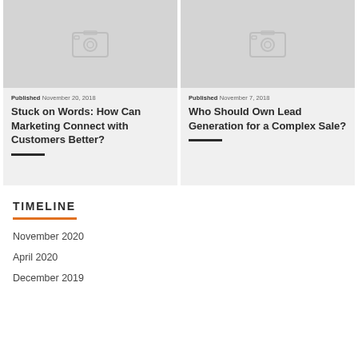[Figure (illustration): Placeholder image thumbnail for blog post card (camera icon on grey background)]
Published November 20, 2018
Stuck on Words: How Can Marketing Connect with Customers Better?
[Figure (illustration): Placeholder image thumbnail for blog post card (camera icon on grey background)]
Published November 7, 2018
Who Should Own Lead Generation for a Complex Sale?
TIMELINE
November 2020
April 2020
December 2019